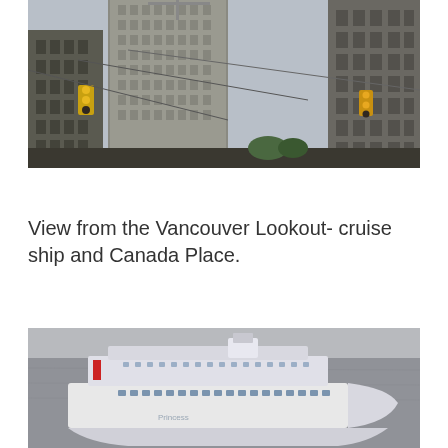[Figure (photo): Street-level view looking up at tall urban buildings in downtown Vancouver, with yellow traffic lights and wires visible against an overcast sky.]
View from the Vancouver Lookout- cruise ship and Canada Place.
[Figure (photo): Aerial or elevated view of a large white cruise ship on grey water near Canada Place, Vancouver, in overcast conditions.]